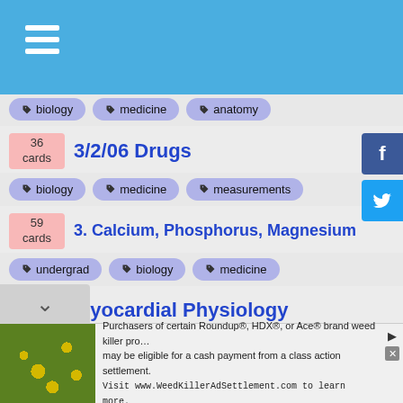Navigation header with hamburger menu
biology | medicine | anatomy (tags row)
36 cards — 3/2/06 Drugs
biology | medicine | measurements (tags)
59 cards — 3. Calcium, Phosphorus, Magnesium
undergrad | biology | medicine (tags)
26 cards — Myocardial Physiology
biology | biochemistry | anatomy (tags)
25 cards — Cerebrovascular Diseases (CVD)
biology | medicine | anatomy (tags)
234 cards — PostPartum/Home Care
semester-done | biology | medicine (tags)
29 — (partial, cut off)
Purchasers of certain Roundup®, HDX®, or Ace® brand weed killer products may be eligible for a cash payment from a class action settlement. Visit www.WeedKillerAdSettlement.com to learn more.